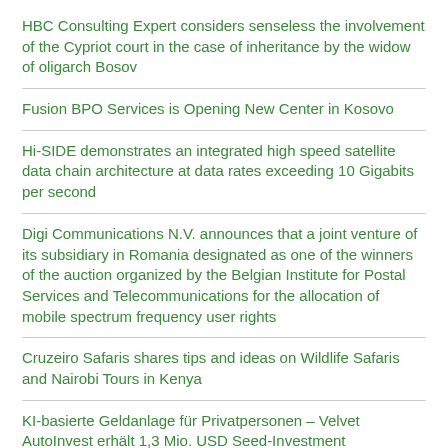HBC Consulting Expert considers senseless the involvement of the Cypriot court in the case of inheritance by the widow of oligarch Bosov
Fusion BPO Services is Opening New Center in Kosovo
Hi-SIDE demonstrates an integrated high speed satellite data chain architecture at data rates exceeding 10 Gigabits per second
Digi Communications N.V. announces that a joint venture of its subsidiary in Romania designated as one of the winners of the auction organized by the Belgian Institute for Postal Services and Telecommunications for the allocation of mobile spectrum frequency user rights
Cruzeiro Safaris shares tips and ideas on Wildlife Safaris and Nairobi Tours in Kenya
KI-basierte Geldanlage für Privatpersonen – Velvet AutoInvest erhält 1,3 Mio. USD Seed-Investment